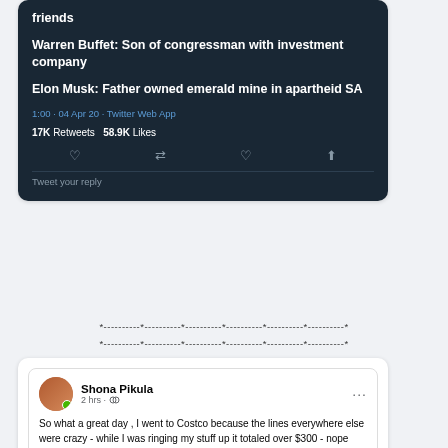[Figure (screenshot): Screenshot of a Twitter post showing text about billionaires' backgrounds: Warren Buffet: Son of congressman with investment company; Elon Musk: Father owned emerald mine in apartheid SA. Posted 1:00 · 04 Apr 20 via Twitter Web App. 17K Retweets, 58.9K Likes.]
*----------*----------*----------*----------*----------*----------*
*----------*----------*----------*----------*----------*----------*
[Figure (screenshot): Facebook post by Shona Pikula, 2 hrs ago, public. Text: So what a great day, I went to Costco because the lines everywhere else were crazy - while I was ringing my stuff up it totaled over $300 - nope can't do that - put over half my stuff back and got just what was needed - dropped it down]